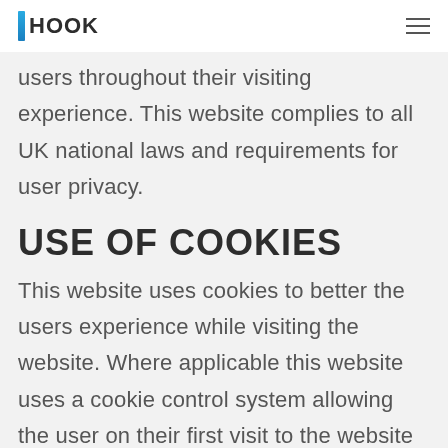HOOK
users throughout their visiting experience. This website complies to all UK national laws and requirements for user privacy.
USE OF COOKIES
This website uses cookies to better the users experience while visiting the website. Where applicable this website uses a cookie control system allowing the user on their first visit to the website to allow or